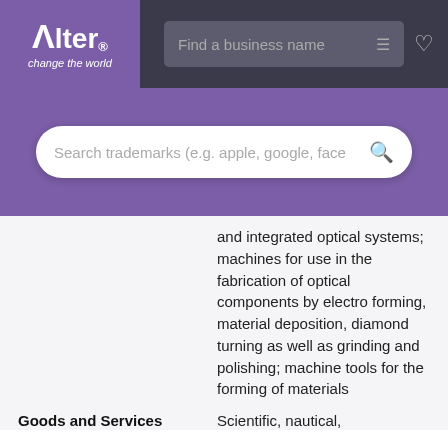[Figure (logo): Alter logo with tagline 'change the world' on purple background]
Find a business name
Search trademarks (e.g. apple, google, face
and integrated optical systems; machines for use in the fabrication of optical components by electro forming, material deposition, diamond turning as well as grinding and polishing; machine tools for the forming of materials
Goods and Services
Scientific, nautical,